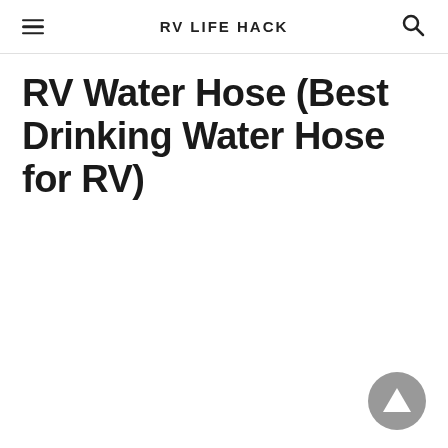RV LIFE HACK
RV Water Hose (Best Drinking Water Hose for RV)
[Figure (illustration): Scroll-to-top button: a dark gray filled circle with a white upward-pointing triangle/arrow in the center, positioned in the bottom-right corner of the page.]